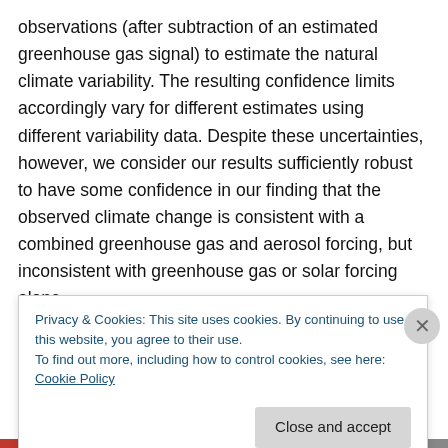observations (after subtraction of an estimated greenhouse gas signal) to estimate the natural climate variability. The resulting confidence limits accordingly vary for different estimates using different variability data. Despite these uncertainties, however, we consider our results sufficiently robust to have some confidence in our finding that the observed climate change is consistent with a combined greenhouse gas and aerosol forcing, but inconsistent with greenhouse gas or solar forcing alone.
Citation: Hegerl, G., Hasselmann, K., Cubasch, U. et al. Climate Dynamics (1997) 13: 613
Privacy & Cookies: This site uses cookies. By continuing to use this website, you agree to their use.
To find out more, including how to control cookies, see here: Cookie Policy